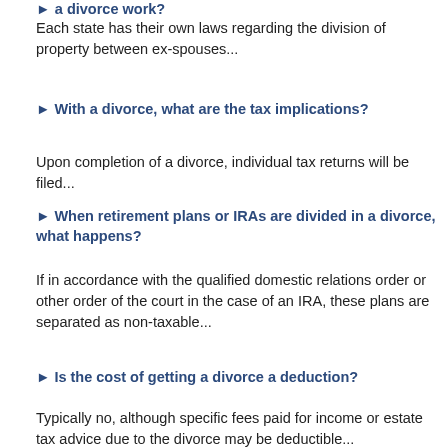► a divorce work?
Each state has their own laws regarding the division of property between ex-spouses...
► With a divorce, what are the tax implications?
Upon completion of a divorce, individual tax returns will be filed...
► When retirement plans or IRAs are divided in a divorce, what happens?
If in accordance with the qualified domestic relations order or other order of the court in the case of an IRA, these plans are separated as non-taxable...
► Is the cost of getting a divorce a deduction?
Typically no, although specific fees paid for income or estate tax advice due to the divorce may be deductible...
► Am I entitled to deduct the